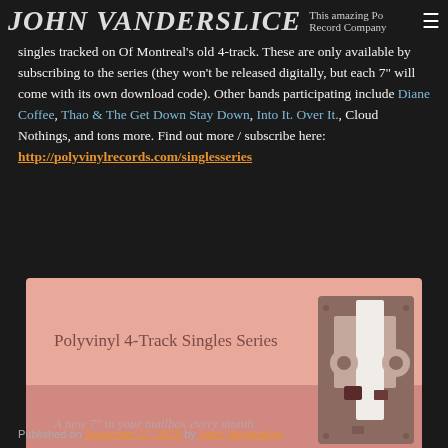JOHN VANDERSLICE
This amazing Polyvinyl Record Company singles tracked on Of Montreal's old 4-track. These are only available by subscribing to the series (they won't be released digitally, but each 7" will come with its own download code). Other bands participating include Diane Coffee, Thao & The Get Down Stay Down, Into It. Over It., Cloud Nothings, and tons more. Find out more / subscribe here: http://polyvinylrecords.com/singlesseries
[Figure (illustration): Promotional banner for Polyvinyl 4-Track Singles Series showing a cassette tape illustration on a salmon/pink background. Text reads 'Polyvinyl 4-Track Singles Series' and 'A new 7" in your mailbox every month']
Published on December 17, 2013 by John Vanderslice.